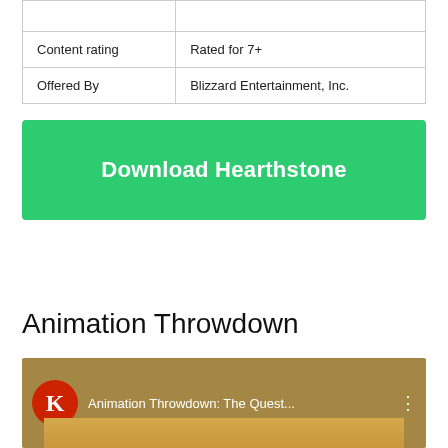|  |  |
| Content rating | Rated for 7+ |
| Offered By | Blizzard Entertainment, Inc. |
Download Hearthstone
Animation Throwdown
[Figure (screenshot): Video thumbnail showing Animation Throwdown: The Quest... with a red K logo and cartoon characters in the background]